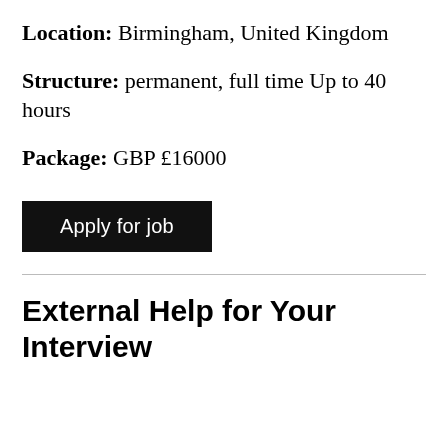Location: Birmingham, United Kingdom
Structure: permanent, full time Up to 40 hours
Package: GBP £16000
Apply for job
External Help for Your Interview